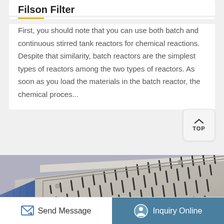Filson Filter
First, you should note that you can use both batch and continuous stirred tank reactors for chemical reactions. Despite that similarity, batch reactors are the simplest types of reactors among the two types of reactors. As soon as you load the materials in the batch reactor, the chemical proces...
[Figure (photo): Close-up photograph of an industrial filter unit with perforated metal grate panel, showing a beige/grey metal casing with rows of elongated slots and a blue side panel on the left.]
Send Message | Inquiry Online